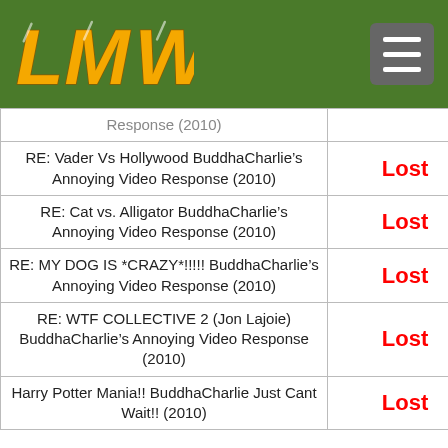LMW logo and navigation
| Event | Result |
| --- | --- |
| Response (2010) |  |
| RE: Vader Vs Hollywood BuddhaCharlie’s Annoying Video Response (2010) | Lost |
| RE: Cat vs. Alligator BuddhaCharlie’s Annoying Video Response (2010) | Lost |
| RE: MY DOG IS *CRAZY*!!!!! BuddhaCharlie’s Annoying Video Response (2010) | Lost |
| RE: WTF COLLECTIVE 2 (Jon Lajoie) BuddhaCharlie’s Annoying Video Response (2010) | Lost |
| Harry Potter Mania!! BuddhaCharlie Just Cant Wait!! (2010) | Lost |